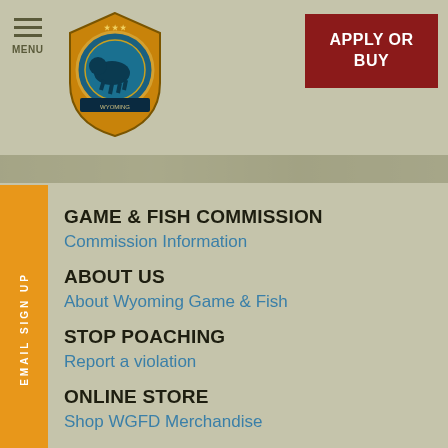[Figure (logo): Wyoming Game & Fish Department shield/badge logo with orange and blue circular emblem]
APPLY OR BUY
[Figure (photo): Thin banner strip with outdoor/nature scene]
GAME & FISH COMMISSION
Commission Information
ABOUT US
About Wyoming Game & Fish
STOP POACHING
Report a violation
ONLINE STORE
Shop WGFD Merchandise